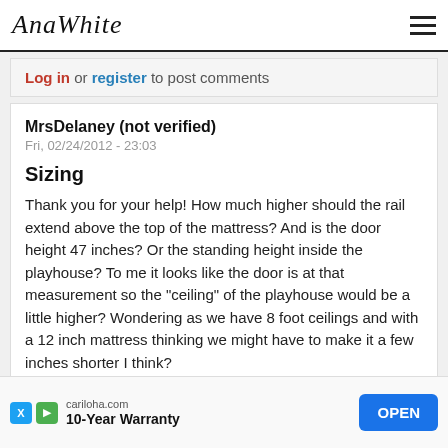AnaWhite
Log in or register to post comments
MrsDelaney (not verified)
Fri, 02/24/2012 - 23:03
Sizing
Thank you for your help! How much higher should the rail extend above the top of the mattress? And is the door height 47 inches? Or the standing height inside the playhouse? To me it looks like the door is at that measurement so the "ceiling" of the playhouse would be a little higher? Wondering as we have 8 foot ceilings and with a 12 inch mattress thinking we might have to make it a few inches shorter I think? Tha... sur...,
cariloha.com 10-Year Warranty OPEN